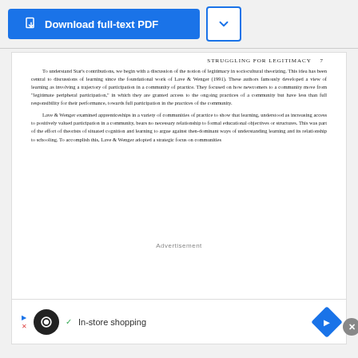[Figure (screenshot): Download full-text PDF button in blue with a chevron dropdown button beside it]
STRUGGLING FOR LEGITIMACY   7
To understand Star's contributions, we begin with a discussion of the notion of legitimacy in sociocultural theorizing. This idea has been central to discussions of learning since the foundational work of Lave & Wenger (1991). These authors famously developed a view of learning as involving a trajectory of participation in a community of practice. They focused on how newcomers to a community move from "legitimate peripheral participation," in which they are granted access to the ongoing practices of a community but have less than full responsibility for their performance, towards full participation in the practices of the community.
Lave & Wenger examined apprenticeships in a variety of communities of practice to show that learning, understood as increasing access to positively valued participation in a community, bears no necessary relationship to formal educational objectives or structures. This was part of the effort of theorists of situated cognition and learning to argue against then-dominant ways of understanding learning and its relationship to schooling. To accomplish this, Lave & Wenger adopted a strategic focus on communities
Advertisement
[Figure (screenshot): Advertisement banner showing In-store shopping with loop icon and navigation arrow icon]